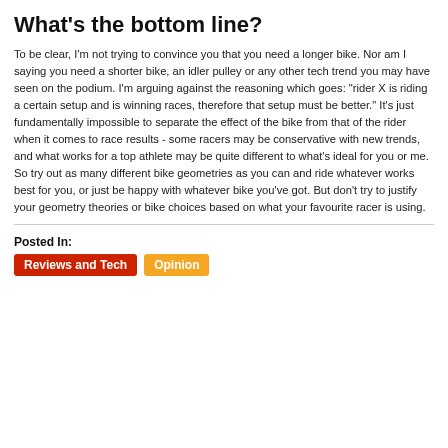What's the bottom line?
To be clear, I'm not trying to convince you that you need a longer bike. Nor am I saying you need a shorter bike, an idler pulley or any other tech trend you may have seen on the podium. I'm arguing against the reasoning which goes: "rider X is riding a certain setup and is winning races, therefore that setup must be better." It's just fundamentally impossible to separate the effect of the bike from that of the rider when it comes to race results - some racers may be conservative with new trends, and what works for a top athlete may be quite different to what's ideal for you or me. So try out as many different bike geometries as you can and ride whatever works best for you, or just be happy with whatever bike you've got. But don't try to justify your geometry theories or bike choices based on what your favourite racer is using.
Posted In:
Reviews and Tech | Opinion